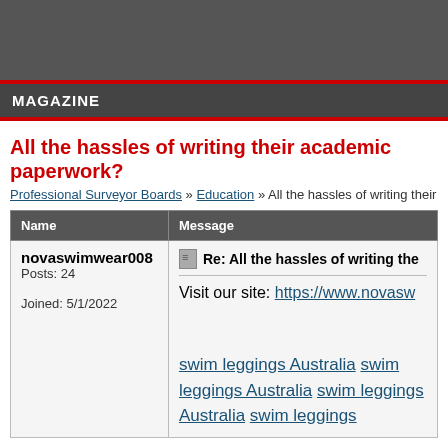MAGAZINE
All the hassles of writing their academic paperwork?
Professional Surveyor Boards » Education » All the hassles of writing their a
| Name | Message |
| --- | --- |
| novaswimwear008
Posts: 24
Joined: 5/1/2022 | Re: All the hassles of writing the
Visit our site: https://www.novasw...
swim leggings Australia swim leggings Australia swim leggings Australia swim leggings |